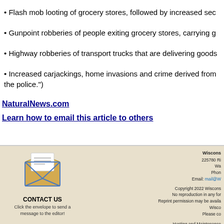• Flash mob looting of grocery stores, followed by increased sec
• Gunpoint robberies of people exiting grocery stores, carrying g
• Highway robberies of transport trucks that are delivering goods
• Increased carjackings, home invasions and crime derived from the police.")
NaturalNews.com
Learn how to email this article to others
[Figure (illustration): Envelope/mailbox icon for contact us section]
CONTACT US
Click the envelope to send a message to the editor!
Wiscons
225780 Ri
Wa
Phon
Email: mail@W
Copyright 2022 Wiscons
No reproduction in any for
Reprint permission may be availa
Wisco
Please co
Hosting and Maintenance